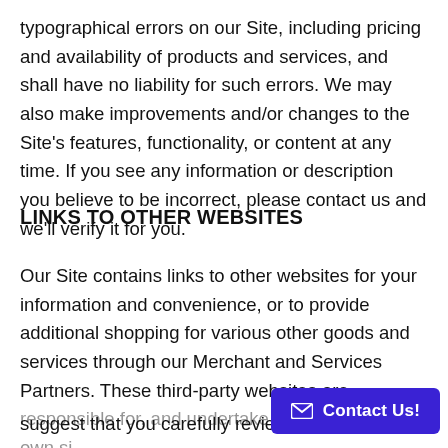typographical errors on our Site, including pricing and availability of products and services, and shall have no liability for such errors. We may also make improvements and/or changes to the Site's features, functionality, or content at any time. If you see any information or description you believe to be incorrect, please contact us and we'll verify it for you.
LINKS TO OTHER WEBSITES
Our Site contains links to other websites for your information and convenience, or to provide additional shopping for various other goods and services through our Merchant and Services Partners. These third-party websites are responsible for, and undertake to maintain, their own si… suggest that you carefully review th…